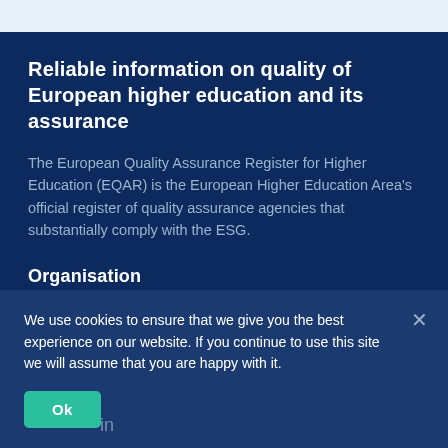Reliable information on quality of European higher education and its assurance
The European Quality Assurance Register for Higher Education (EQAR) is the European Higher Education Area's official register of quality assurance agencies that substantially comply with the ESG.
Organisation
Committee login
Contact
Newsletter archive
Legal notice
We use cookies to ensure that we give you the best experience on our website. If you continue to use this site we will assume that you are happy with it.
Ok